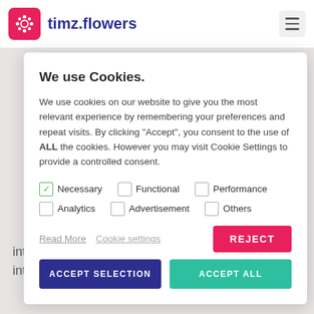timz.flowers
We use Cookies.
We use cookies on our website to give you the most relevant experience by remembering your preferences and repeat visits. By clicking "Accept", you consent to the use of ALL the cookies. However you may visit Cookie Settings to provide a controlled consent.
Necessary (checked), Functional, Performance, Analytics, Advertisement, Others
Read More   Cookie settings   REJECT   ACCEPT SELECTION   ACCEPT ALL